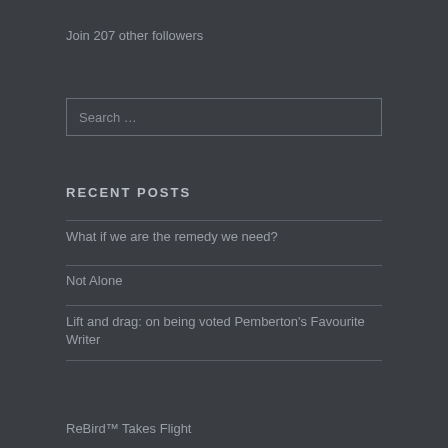Join 207 other followers
Search …
RECENT POSTS
What if we are the remedy we need?
Not Alone
Lift and drag: on being voted Pemberton's Favourite Writer
ReBird™ Takes Flight